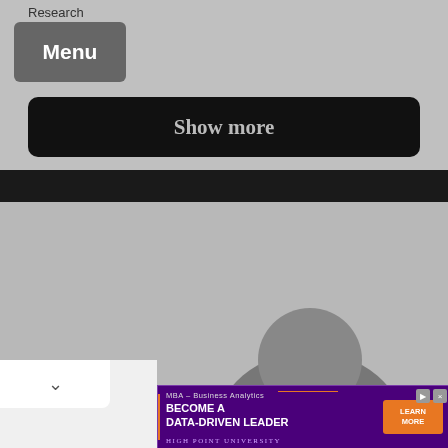Research
Menu
Show more
[Figure (photo): Gray placeholder area showing partial person silhouette at bottom]
∨
[Figure (infographic): Advertisement banner for High Point University MBA Business Analytics program. Text: MBA – Business Analytics, BECOME A DATA-DRIVEN LEADER, LEARN MORE, HIGH POINT UNIVERSITY]